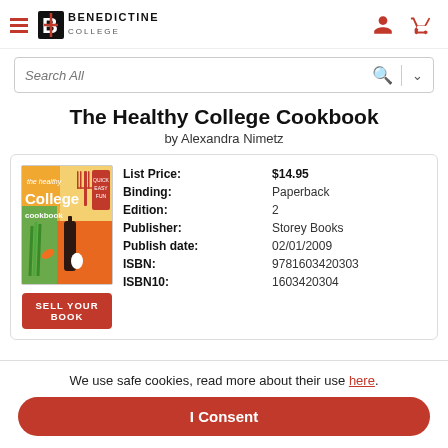Benedictine College
Search All
The Healthy College Cookbook
by Alexandra Nimetz
| Field | Value |
| --- | --- |
| List Price: | $14.95 |
| Binding: | Paperback |
| Edition: | 2 |
| Publisher: | Storey Books |
| Publish date: | 02/01/2009 |
| ISBN: | 9781603420303 |
| ISBN10: | 1603420304 |
[Figure (photo): Cover of The Healthy College Cookbook by Alexandra Nimetz — colorful illustration with food items]
SELL YOUR BOOK
We use safe cookies, read more about their use here.
I Consent